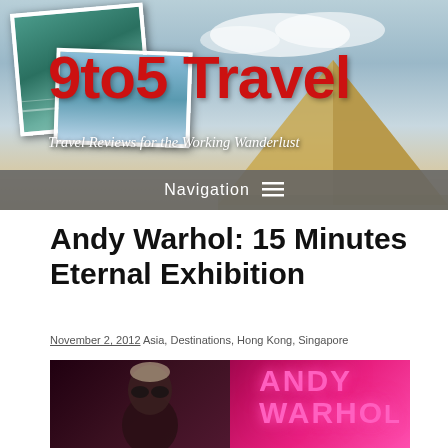[Figure (photo): 9to5 Travel website header banner with pyramid in background, beach photo cards, site title '9to5 Travel' in bold red, tagline 'Travel Reviews for the Working Wanderlust', and navigation bar]
Andy Warhol: 15 Minutes Eternal Exhibition
November 2, 2012 Asia, Destinations, Hong Kong, Singapore
[Figure (photo): Photo of Andy Warhol figure in dark setting with bright pink/magenta 'ANDY WARHOL' text illuminated on the right side]